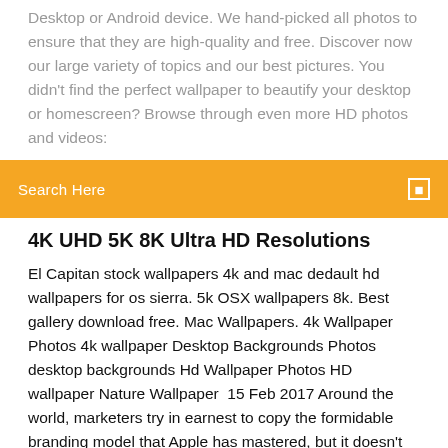Desktop or Android device. We hand-picked all photos to ensure that they are high-quality and free. Discover now our large variety of topics and our best pictures. You didn't find the perfect wallpaper to beautify your desktop or homescreen? Browse through even more HD photos and videos:
Search Here
4K UHD 5K 8K Ultra HD Resolutions
El Capitan stock wallpapers 4k and mac dedault hd wallpapers for os sierra. 5k OSX wallpapers 8k. Best gallery download free. Mac Wallpapers. 4k Wallpaper Photos 4k wallpaper Desktop Backgrounds Photos desktop backgrounds Hd Wallpaper Photos HD wallpaper Nature Wallpaper  15 Feb 2017 Around the world, marketers try in earnest to copy the formidable branding model that Apple has mastered, but it doesn't look like the Apple brand  1920x1080 Apple wallpapers for Laptop Full HD 1080P devices Now and best 97,000 of desktop wallpapers, hd